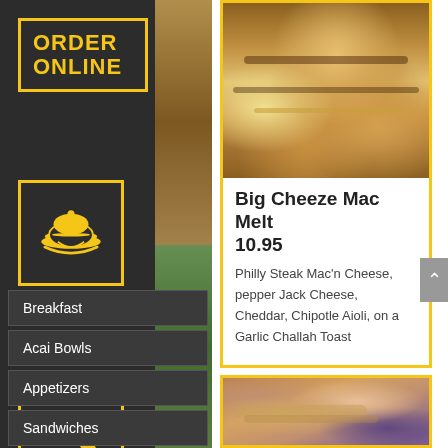ORDER ONLINE
[Figure (illustration): Yellow dish/platter serving icon on dark background with gold border]
[Figure (illustration): Yellow phone icon on dark background with gold border]
Breakfast
Acai Bowls
Appetizers
Sandwiches
Salads
[Figure (photo): Close-up photo of grilled mac and cheese melt sandwich with melted cheese visible]
Big Cheeze Mac Melt 10.95
Philly Steak Mac'n Cheese, pepper Jack Cheese, Cheddar, Chipotle Aioli, on a Garlic Challah Toast
[Figure (photo): Close-up photo of a sandwich with shrimp or chicken filling on a toasted bun]